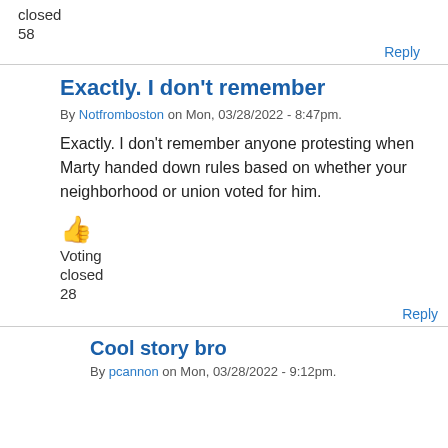closed
58
Reply
Exactly. I don't remember
By Notfromboston on Mon, 03/28/2022 - 8:47pm.
Exactly. I don't remember anyone protesting when Marty handed down rules based on whether your neighborhood or union voted for him.
Voting closed 28
Reply
Cool story bro
By pcannon on Mon, 03/28/2022 - 9:12pm.